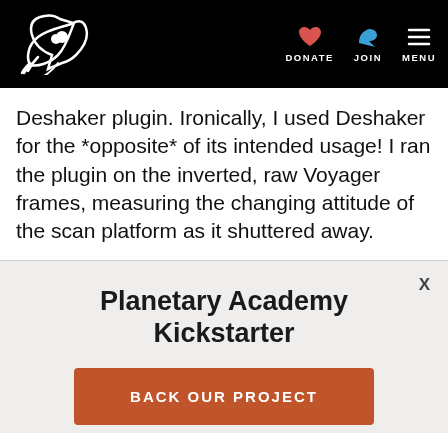Planetary Society navigation — DONATE, JOIN, MENU
Deshaker plugin. Ironically, I used Deshaker for the *opposite* of its intended usage! I ran the plugin on the inverted, raw Voyager frames, measuring the changing attitude of the scan platform as it shuttered away.
Planetary Academy Kickstarter
BACK OUR PROJECT